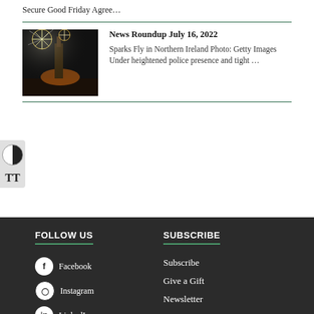Secure Good Friday Agree…
[Figure (photo): Fireworks exploding over a crowd at night, with a tall illuminated structure visible]
News Roundup July 16, 2022
Sparks Fly in Northern Ireland Photo: Getty Images Under heightened police presence and tight …
FOLLOW US
Facebook
Instagram
LinkedIn
Twitter
SUBSCRIBE
Subscribe
Give a Gift
Newsletter
Customer Service